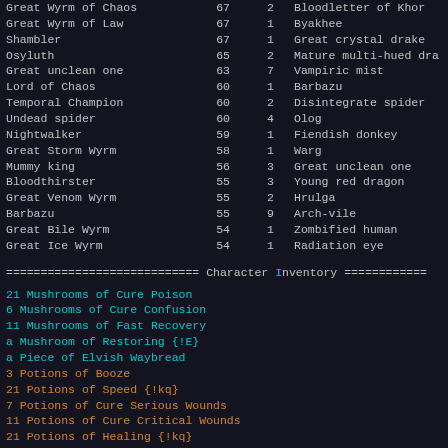| Name | XP | N | Kills |
| --- | --- | --- | --- |
| Great Wyrm of Chaos | 67 | 2 | Bloodletter of Khorne |
| Great Wyrm of Law | 67 | 1 | Byakhee |
| Shambler | 67 | 1 | Great crystal drake |
| Osyluth | 65 | 2 | Mature multi-hued dra… |
| Great unclean one | 63 | 7 | Vampiric mist |
| Lord of Chaos | 60 | 1 | Barbazu |
| Temporal Champion | 60 | 2 | Disintegrate spider |
| Undead spider | 60 | 4 | Olog |
| Nightwalker | 59 | 1 | Fiendish donkey |
| Great Storm Wyrm | 58 | 1 | Warg |
| Mummy king | 56 | 3 | Great unclean one |
| Bloodthirster | 55 | 3 | Young red dragon |
| Great Venom Wyrm | 55 | 2 | Hrulga |
| Barbazu | 55 | 9 | Arch-vile |
| Great Bile Wyrm | 54 | 1 | Zombified human |
| Great Ice Wyrm | 54 | 1 | Radiation eye |
============================  Character Inventory  ============
21 Mushrooms of Cure Poison
6 Mushrooms of Cure Confusion
11 Mushrooms of Fast Recovery
a Mushroom of Restoring {!E}
a Piece of Elvish Waybread
3 Potions of Booze
21 Potions of Speed {!kq}
7 Potions of Cure Serious Wounds
11 Potions of Cure Critical Wounds
21 Potions of Healing {!kq}
a Potion of *Healing* {!kq}
5 Potions of Resistance {!kq}
a Barbarian Talisman [+2] (+1) {Dx;Fe[MT}
The Jewel of Judgement (+3) {SpInWi;CfCa;SiHl A:Clairvoyance a…
Balance Dragon Scale Mail (-2) [40,+16] {SoShCaDi A:Breathe}
The Do-maru of the Ogre King (-2) [20,+21] (+2) {-10%}
{StDxCn;-WiMd;-Sh;AcFiLiDkNtNxDiBlFe}
Rhino Hide Armour of Celestial Protection (-1) [8,+27] {LiDkDi…